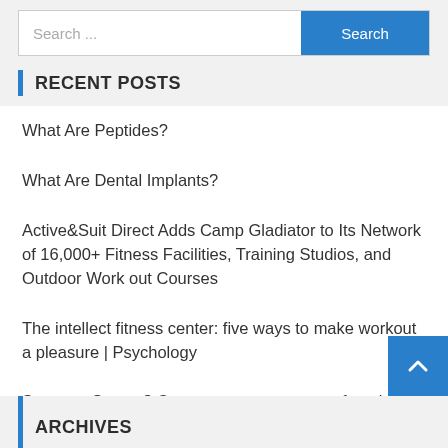[Figure (screenshot): Search bar with text input placeholder 'Search ...' and a blue 'Search' button]
RECENT POSTS
What Are Peptides?
What Are Dental Implants?
Active&Suit Direct Adds Camp Gladiator to Its Network of 16,000+ Fitness Facilities, Training Studios, and Outdoor Work out Courses
The intellect fitness center: five ways to make workout a pleasure | Psychology
Sweet or Savory? Count on new entrance-of-package deal nutrition labelling for particular foods | Aware
ARCHIVES